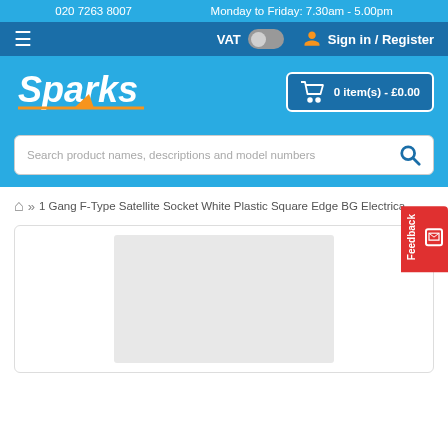020 7263 8007   Monday to Friday: 7.30am - 5.00pm
VAT  Sign in / Register
[Figure (logo): Sparks electrical logo with lightning bolt in italic script style, white text on blue background]
0 item(s) - £0.00
Search product names, descriptions and model numbers
» 1 Gang F-Type Satellite Socket White Plastic Square Edge BG Electrica...
[Figure (photo): Product image placeholder - light gray rectangle]